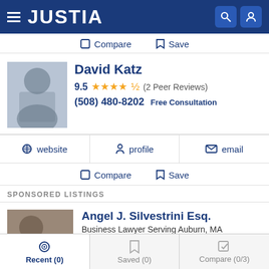JUSTIA
Compare   Save
David Katz
9.5 ★★★★½ (2 Peer Reviews)
(508) 480-8202 Free Consultation
website   profile   email
Compare   Save
SPONSORED LISTINGS
Angel J. Silvestrini Esq.
Business Lawyer Serving Auburn, MA
(800) 541-4542
Recent (0)   Saved (0)   Compare (0/3)